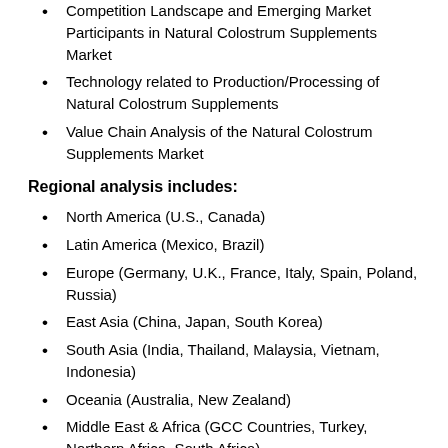Competition Landscape and Emerging Market Participants in Natural Colostrum Supplements Market
Technology related to Production/Processing of Natural Colostrum Supplements
Value Chain Analysis of the Natural Colostrum Supplements Market
Regional analysis includes:
North America (U.S., Canada)
Latin America (Mexico, Brazil)
Europe (Germany, U.K., France, Italy, Spain, Poland, Russia)
East Asia (China, Japan, South Korea)
South Asia (India, Thailand, Malaysia, Vietnam, Indonesia)
Oceania (Australia, New Zealand)
Middle East & Africa (GCC Countries, Turkey, Northern Africa, South Africa)